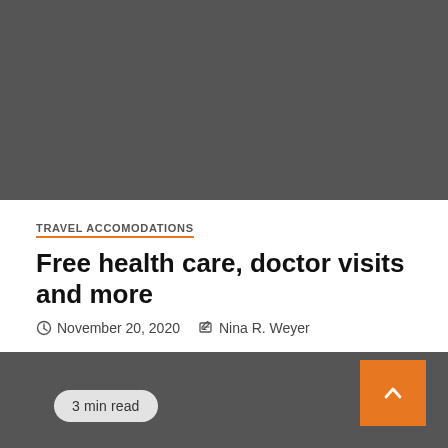[Figure (photo): Dark gray placeholder image at the top of the article page]
TRAVEL ACCOMODATIONS
Free health care, doctor visits and more
November 20, 2020   Nina R. Weyer
[Figure (photo): Dark gray placeholder image at the bottom of the article page with a '3 min read' badge and an orange scroll-to-top button]